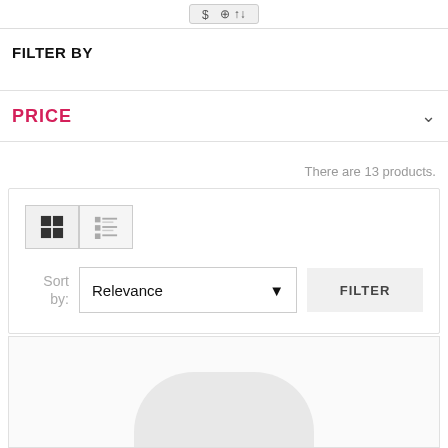[Figure (screenshot): Partial top bar with a price/icon button]
FILTER BY
PRICE
There are 13 products.
[Figure (screenshot): Sort controls panel with grid/list view toggle buttons, a 'Sort by: Relevance' dropdown, and a FILTER button]
[Figure (photo): Partial product card showing a white/light grey product image at the bottom of the page]